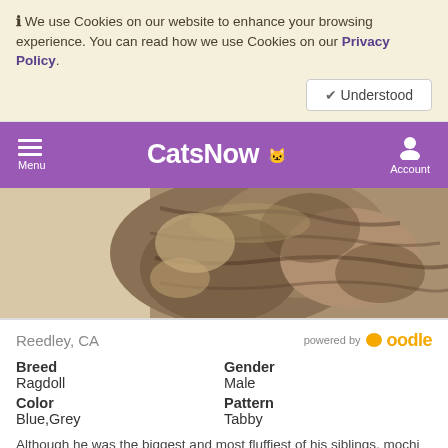ℹ We use Cookies on our website to enhance your browsing experience. You can read how we use Cookies on our Privacy Policy.
✔ Understood
CatsNow — Menu | Account
[Figure (photo): Close-up photo of a cat, showing fluffy grey/brown tabby fur]
Reedley, CA
powered by oodle
Breed
Ragdoll
Gender
Male
Color
Blue,Grey
Pattern
Tabby
Although he was the biggest and most fluffiest of his siblings, mochi is the embodiment of a gentle giant. He much rather prefer to sunbathe and snooze...
No Price Listed
View Details